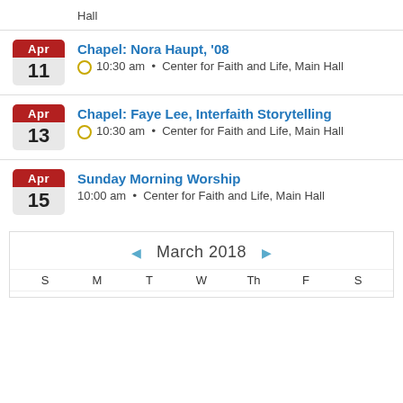Hall
Apr 11 — Chapel: Nora Haupt, '08 — 10:30 am • Center for Faith and Life, Main Hall
Apr 13 — Chapel: Faye Lee, Interfaith Storytelling — 10:30 am • Center for Faith and Life, Main Hall
Apr 15 — Sunday Morning Worship — 10:00 am • Center for Faith and Life, Main Hall
[Figure (other): Monthly calendar widget showing March 2018 with weekday headers S M T W Th F S and a partial grid row at the bottom]